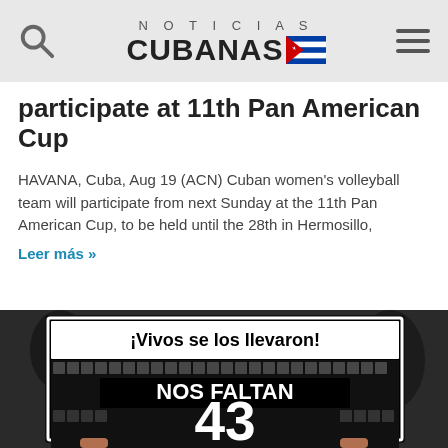NOTICIAS CUBANAS
participate at 11th Pan American Cup
HAVANA, Cuba, Aug 19 (ACN) Cuban women's volleyball team will participate from next Sunday at the 11th Pan American Cup, to be held until the 28th in Hermosillo,
Leer más »
[Figure (photo): Person holding a black and white protest sign reading '¡Vivos se los llevaron! NOS FALTAN 43' with small photos of missing persons covering the sign]